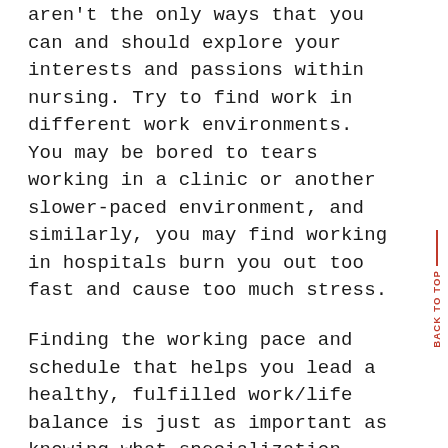aren't the only ways that you can and should explore your interests and passions within nursing. Try to find work in different work environments. You may be bored to tears working in a clinic or another slower-paced environment, and similarly, you may find working in hospitals burn you out too fast and cause too much stress.
Finding the working pace and schedule that helps you lead a healthy, fulfilled work/life balance is just as important as knowing what specialization interests you the most.
Only once you are convinced and committed to a certain role should you then find the program that will train you and prepare you.